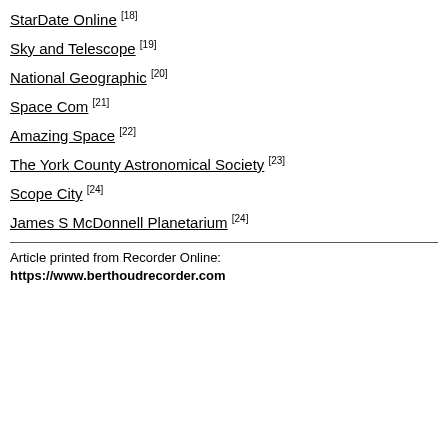StarDate Online [18]
Sky and Telescope [19]
National Geographic [20]
Space Com [21]
Amazing Space [22]
The York County Astronomical Society [23]
Scope City [24]
James S McDonnell Planetarium [24]
Article printed from Recorder Online: https://www.berthoudrecorder.com